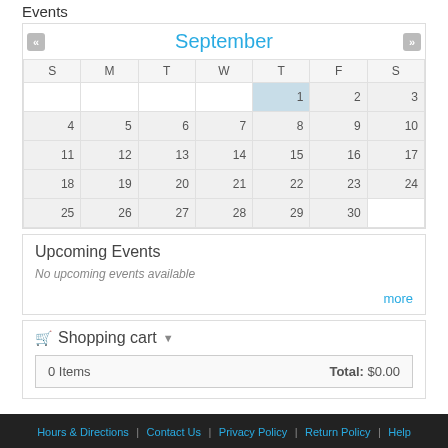Events
| S | M | T | W | T | F | S |
| --- | --- | --- | --- | --- | --- | --- |
|  |  |  |  | 1 | 2 | 3 |
| 4 | 5 | 6 | 7 | 8 | 9 | 10 |
| 11 | 12 | 13 | 14 | 15 | 16 | 17 |
| 18 | 19 | 20 | 21 | 22 | 23 | 24 |
| 25 | 26 | 27 | 28 | 29 | 30 |  |
Upcoming Events
No upcoming events available
more
Shopping cart
0 Items   Total: $0.00
Hours & Directions | Contact Us | Privacy Policy | Return Policy | Help